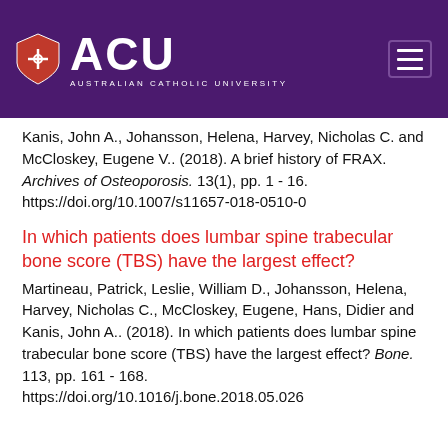ACU – Australian Catholic University
Kanis, John A., Johansson, Helena, Harvey, Nicholas C. and McCloskey, Eugene V.. (2018). A brief history of FRAX. Archives of Osteoporosis. 13(1), pp. 1 - 16. https://doi.org/10.1007/s11657-018-0510-0
In which patients does lumbar spine trabecular bone score (TBS) have the largest effect?
Martineau, Patrick, Leslie, William D., Johansson, Helena, Harvey, Nicholas C., McCloskey, Eugene, Hans, Didier and Kanis, John A.. (2018). In which patients does lumbar spine trabecular bone score (TBS) have the largest effect? Bone. 113, pp. 161 - 168. https://doi.org/10.1016/j.bone.2018.05.026